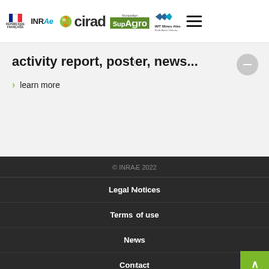République Française | INRAE | cirad | SupAgro Montpellier | IMT Mines Ales
activity report, poster, news...
learn more
© INRAE 2022
Legal Notices
Terms of use
News
Contact